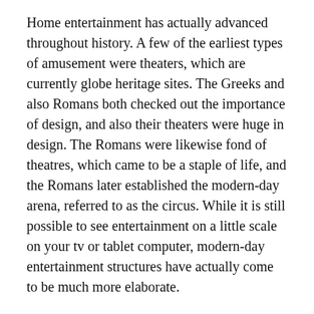Home entertainment has actually advanced throughout history. A few of the earliest types of amusement were theaters, which are currently globe heritage sites. The Greeks and also Romans both checked out the importance of design, and also their theaters were huge in design. The Romans were likewise fond of theatres, which came to be a staple of life, and the Romans later established the modern-day arena, referred to as the circus. While it is still possible to see entertainment on a little scale on your tv or tablet computer, modern-day entertainment structures have actually come to be much more elaborate.
While there are numerous various other types of enjoyment, there is a distinctive collection of guidelines that the show business should abide by. In the media as well as show business, these regulations are detailed by the Federal